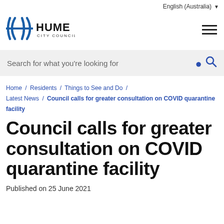English (Australia)
[Figure (logo): Hume City Council logo with stylized H graphic in blue and black text]
Search for what you're looking for
Home / Residents / Things to See and Do / Latest News / Council calls for greater consultation on COVID quarantine facility
Council calls for greater consultation on COVID quarantine facility
Published on 25 June 2021